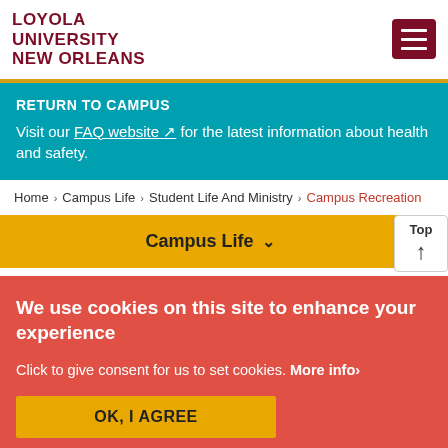LOYOLA UNIVERSITY NEW ORLEANS
RETURN TO CAMPUS
Visit our FAQ website for the latest information about health and safety.
Home > Campus Life > Student Life And Ministry > Campus Recreation
Campus Life
We use cookies on this site to enhance your experience
Click to give consent for us to set cookies. More info>
OK, I AGREE